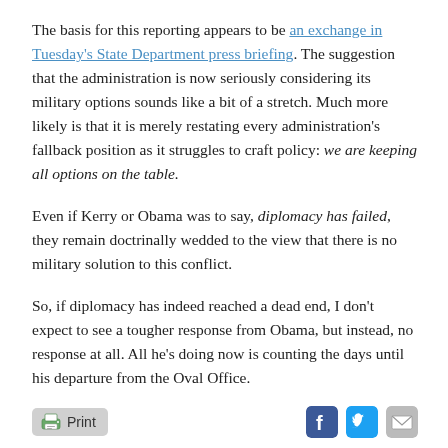The basis for this reporting appears to be an exchange in Tuesday's State Department press briefing. The suggestion that the administration is now seriously considering its military options sounds like a bit of a stretch. Much more likely is that it is merely restating every administration's fallback position as it struggles to craft policy: we are keeping all options on the table.
Even if Kerry or Obama was to say, diplomacy has failed, they remain doctrinally wedded to the view that there is no military solution to this conflict.
So, if diplomacy has indeed reached a dead end, I don't expect to see a tougher response from Obama, but instead, no response at all. All he's doing now is counting the days until his departure from the Oval Office.
Print [social share icons: Facebook, Twitter, Email]